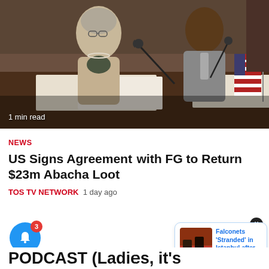[Figure (photo): Two officials seated at a conference table signing documents. An American flag is visible. A woman with grey hair in a beige jacket is on the left; a man in a grey suit is on the right.]
1 min read
NEWS
US Signs Agreement with FG to Return $23m Abacha Loot
TOS TV NETWORK   1 day ago
[Figure (photo): Thumbnail image for Falconets stranded story showing figures on a red surface]
Falconets 'Stranded' in Istanbul after Elimination
6 hours ago
PODCAST (Ladies, it's